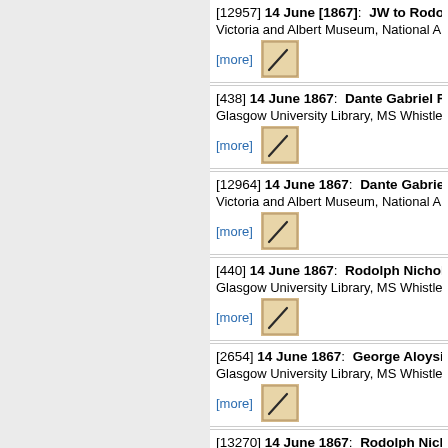[12957] 14 June [1867]: JW to Rodolph — Victoria and Albert Museum, National Art [more]
[438] 14 June 1867: Dante Gabriel Ross — Glasgow University Library, MS Whistler B [more]
[12964] 14 June 1867: Dante Gabriel Ro — Victoria and Albert Museum, National Art [more]
[440] 14 June 1867: Rodolph Nicholson — Glasgow University Library, MS Whistler B [more]
[2654] 14 June 1867: George Aloysius — Glasgow University Library, MS Whistler L [more]
[13270] 14 June 1867: Rodolph Nichols — Victoria and Albert Museum, National Art